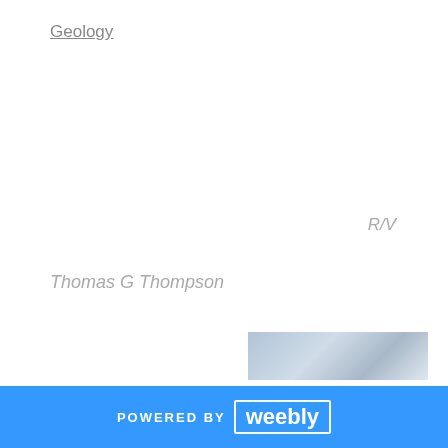Geology
R/V
Thomas G Thompson
Bermuda Institute of Ocean Sciences
[Figure (photo): Partial photo visible at bottom of page, appears to show scientific equipment or marine research imagery]
POWERED BY weebly